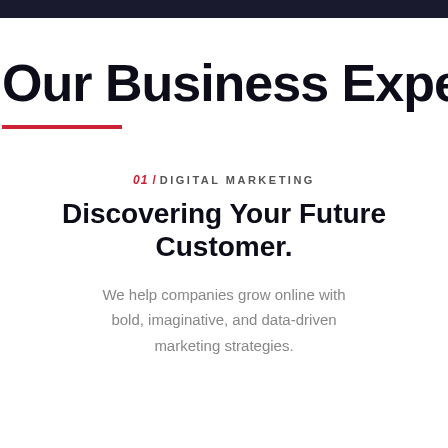Our Business Expertise
01 / DIGITAL MARKETING
Discovering Your Future Customer.
We help companies grow online with bold, imaginative, and data-driven marketing strategies.